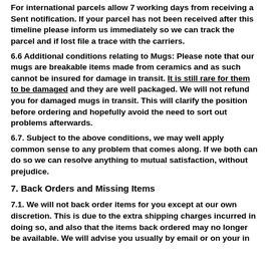For international parcels allow 7 working days from receiving a Sent notification. If your parcel has not been received after this timeline please inform us immediately so we can track the parcel and if lost file a trace with the carriers.
6.6 Additional conditions relating to Mugs: Please note that our mugs are breakable items made from ceramics and as such cannot be insured for damage in transit. It is still rare for them to be damaged and they are well packaged. We will not refund you for damaged mugs in transit. This will clarify the position before ordering and hopefully avoid the need to sort out problems afterwards.
6.7. Subject to the above conditions, we may well apply common sense to any problem that comes along. If we both can do so we can resolve anything to mutual satisfaction, without prejudice.
7. Back Orders and Missing Items
7.1. We will not back order items for you except at our own discretion. This is due to the extra shipping charges incurred in doing so, and also that the items back ordered may no longer be available. We will advise you usually by email or on your in